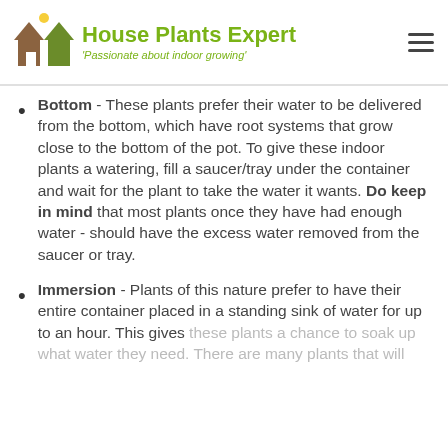House Plants Expert - 'Passionate about indoor growing'
Bottom - These plants prefer their water to be delivered from the bottom, which have root systems that grow close to the bottom of the pot. To give these indoor plants a watering, fill a saucer/tray under the container and wait for the plant to take the water it wants. Do keep in mind that most plants once they have had enough water - should have the excess water removed from the saucer or tray.
Immersion - Plants of this nature prefer to have their entire container placed in a standing sink of water for up to an hour. This gives these plants a chance to soak up what water they need. There are many plants that will